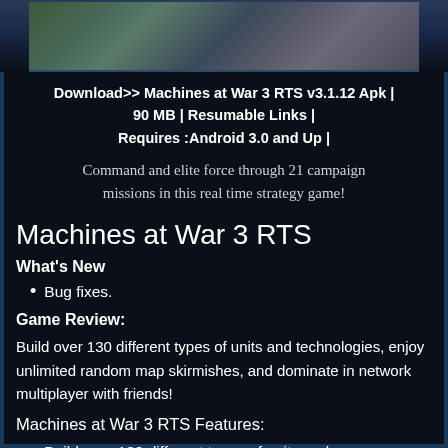[Figure (illustration): Game banner/header image showing armored soldiers or war machines in blue-toned dark background]
Download>> Machines at War 3 RTS v3.1.12 Apk | 90 MB | Resumable Links | Requires :Android 3.0 and Up |
Command and elite force through 21 campaign missions in this real time strategy game!
Machines at War 3 RTS
What's New
Bug fixes.
Game Review:
Build over 130 different types of units and technologies, enjoy unlimited random map skirmishes, and dominate in network multiplayer with friends!
Machines at War 3 RTS Features:
Build over 130 different types of units and